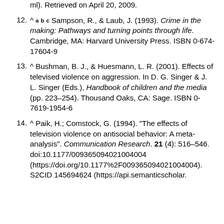ml). Retrieved on April 20, 2009.
12. ^ a b c Sampson, R., & Laub, J. (1993). Crime in the making: Pathways and turning points through life. Cambridge, MA: Harvard University Press. ISBN 0-674-17604-9
13. ^ Bushman, B. J., & Huesmann, L. R. (2001). Effects of televised violence on aggression. In D. G. Singer & J. L. Singer (Eds.), Handbook of children and the media (pp. 223–254). Thousand Oaks, CA: Sage. ISBN 0-7619-1954-6
14. ^ Paik, H.; Comstock, G. (1994). "The effects of television violence on antisocial behavior: A meta-analysis". Communication Research. 21 (4): 516–546. doi:10.1177/009365094021004004 (https://doi.org/10.1177%2F009365094021004004). S2CID 145694624 (https://api.semanticscholar...